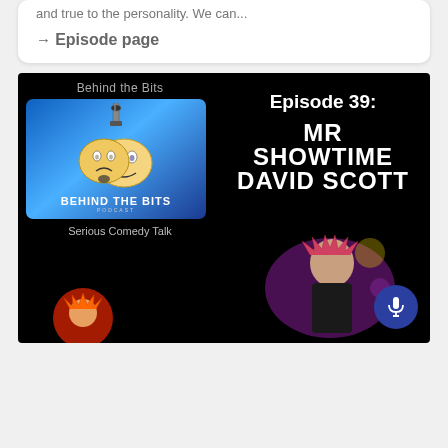→ Episode page
[Figure (illustration): Behind the Bits Podcast promotional image for Episode 39: Mr Showtime David Scott. Black background with podcast logo on left (comedy/tragedy masks with microphone, blue gradient background, text 'BEHIND THE BITS PODCAST Serious Comedy Talk') and episode title text on right. Person with spiky red hair visible in lower right. Microphone button in bottom right corner.]